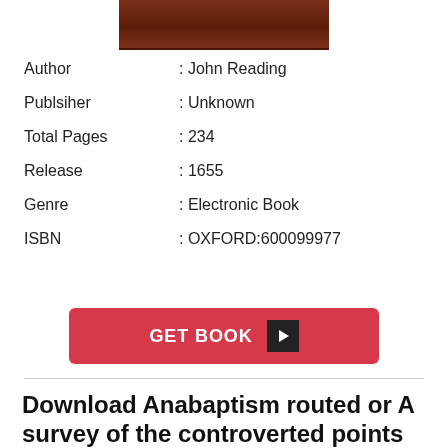[Figure (photo): Top portion of a book cover image showing a brown/dark red surface]
| Author | : John Reading |
| Publsiher | : Unknown |
| Total Pages | : 234 |
| Release | : 1655 |
| Genre | : Electronic Book |
| ISBN | : OXFORD:600099977 |
GET BOOK ▶
Download Anabaptism routed or A survey of the controverted points Together with a particular answer to all